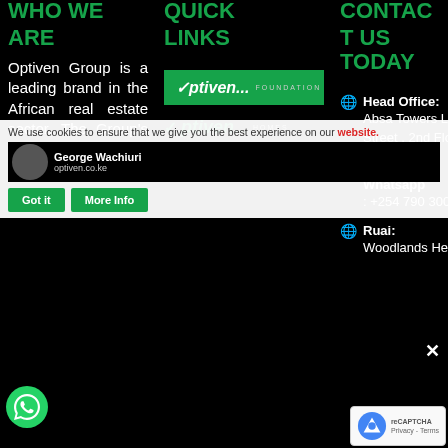WHO WE ARE | QUICK LINKS | CONTACT US TODAY
We use cookies to ensure that we give you the best experience on our website.
George Wachiuri
Got it   More Info
[Figure (logo): Optiven Foundation logo - green background with Optiven text]
[Figure (logo): Optiven Homes logo - green checkmark with Optiven text]
[Figure (logo): Optiven Construction logo - green checkmark with Optiven text]
Optiven Group is a leading brand in the African real estate sector. The Group's main objective is to empower property
Head Office: Absa Towers Loita Street , 2nd Floor
Call /SMS / Whatsapp : +254 790 300300
Ruai: Woodlands Heights